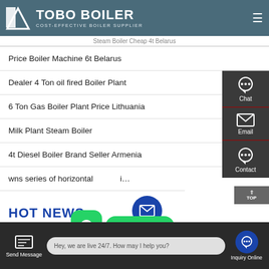TOBO BOILER — COST-EFFECTIVE BOILER SUPPLIER
Steam Boiler Cheap 4t Belarus
Price Boiler Machine 6t Belarus
Dealer 4 Ton oil fired Boiler Plant
6 Ton Gas Boiler Plant Price Lithuania
Milk Plant Steam Boiler
4t Diesel Boiler Brand Seller Armenia
wns series of horizontal … i…
HOT NEWS
Send Message | Hey, we are live 24/7. How may I help you? | Inquiry Online